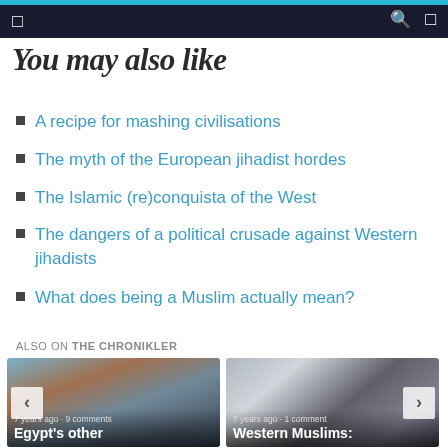You may also like
You may also like
A recipe for mashing civilisations
The myth of the European jihadist hordes
The Islamic (re)conquista of the West
The dangers of a political crusade against Western jihadists
What does being a Muslim actually mean?
ALSO ON THE CHRONIKLER
[Figure (photo): Card showing people in costumes, caption: 7 years ago • 9 comments, Egypt's other]
[Figure (photo): Card showing a woman smiling, caption: 7 years ago • 1 comment, Western Muslims:]